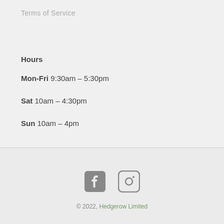Terms of Service
Hours
Mon-Fri 9:30am – 5:30pm
Sat 10am – 4:30pm
Sun 10am – 4pm
[Figure (other): Facebook and Instagram social media icons]
© 2022, Hedgerow Limited